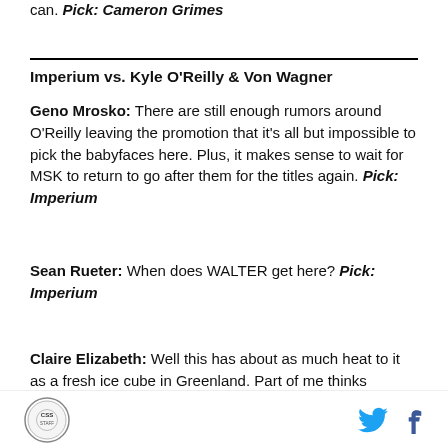can. Pick: Cameron Grimes
Imperium vs. Kyle O'Reilly & Von Wagner
Geno Mrosko: There are still enough rumors around O'Reilly leaving the promotion that it's all but impossible to pick the babyfaces here. Plus, it makes sense to wait for MSK to return to go after them for the titles again. Pick: Imperium
Sean Rueter: When does WALTER get here? Pick: Imperium
Claire Elizabeth: Well this has about as much heat to it as a fresh ice cube in Greenland. Part of me thinks
CSS logo | Twitter | Facebook